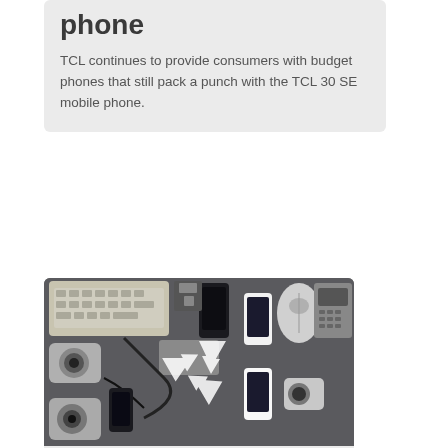phone
TCL continues to provide consumers with budget phones that still pack a punch with the TCL 30 SE mobile phone.
[Figure (photo): Overhead view of various electronic devices and peripherals including keyboards, smartphones, cameras, mice, and other gadgets arranged around a recycling symbol on a dark surface.]
SUSTAINABILITY
NZ program recovers and recycles more than 177 tonnes of e-